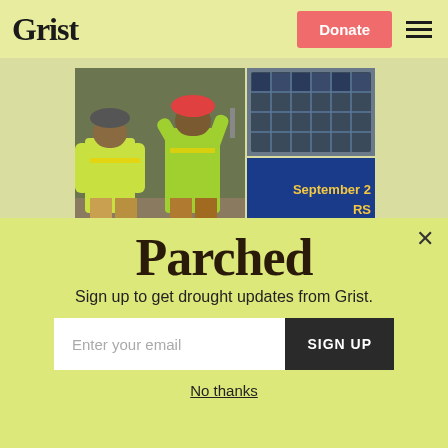Grist | Donate
[Figure (photo): Construction workers in yellow safety vests and hard hats at a job site, alongside solar panels and a blue banner reading 'September 2 RS bit.ly/ClimateJob']
Grist thanks its sponsors. Become one.
Parched
Sign up to get drought updates from Grist.
Enter your email | SIGN UP
No thanks